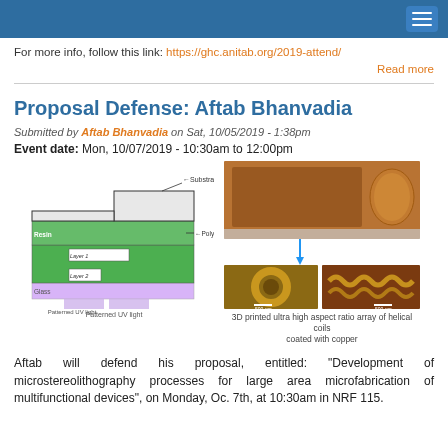For more info, follow this link: https://ghc.anitab.org/2019-attend/
Read more
Proposal Defense: Aftab Bhanvadia
Submitted by Aftab Bhanvadia on Sat, 10/05/2019 - 1:38pm
Event date: Mon, 10/07/2019 - 10:30am to 12:00pm
[Figure (engineering-diagram): Schematic diagram of microstereolithography process showing Resin, Layer 1, Polymer, Layer 2, Glass, Patterned UV light, and Substrate labels]
[Figure (photo): 3D printed ultra high aspect ratio array of helical coils coated with copper. Shows top view and cross-section view microscope images, with a macro photo of the array next to a penny for scale.]
3D printed ultra high aspect ratio array of helical coils coated with copper
Aftab will defend his proposal, entitled: "Development of microstereolithography processes for large area microfabrication of multifunctional devices", on Monday, Oc. 7th, at 10:30am in NRF 115.